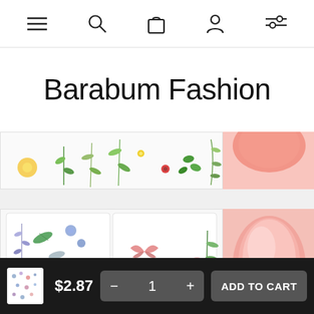Navigation bar with menu, search, cart, profile, and filter icons
Barabum Fashion
[Figure (photo): Top strip: left side shows floral/botanical nail sticker sheets partially visible; right side shows pink/coral gel nail close-up]
[Figure (photo): Main product image: two nail sticker sheets labeled STZ-1173 (blue/purple floral and leaf designs) and STZ-1174 (butterflies, flowers, blue florals); right side shows pink gel nails with floral nail art stickers applied]
$2.87
1
ADD TO CART